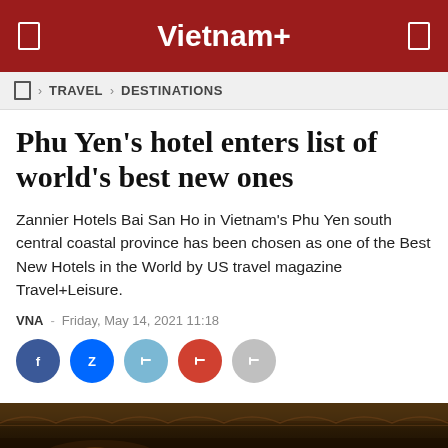Vietnam+
TRAVEL › DESTINATIONS
Phu Yen's hotel enters list of world's best new ones
Zannier Hotels Bai San Ho in Vietnam's Phu Yen south central coastal province has been chosen as one of the Best New Hotels in the World by US travel magazine Travel+Leisure.
VNA - Friday, May 14, 2021 11:18
[Figure (infographic): Social sharing buttons: Facebook (dark blue), Zalo (blue Z), Twitter (light blue), Google+ (red), More (gray)]
[Figure (photo): Bottom strip showing a dark interior hotel/building photo with warm golden lighting]